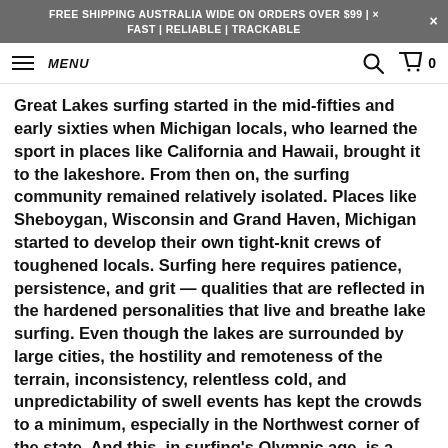FREE SHIPPING AUSTRALIA WIDE ON ORDERS OVER $99 | FAST | RELIABLE | TRACKABLE
MENU
Great Lakes surfing started in the mid-fifties and early sixties when Michigan locals, who learned the sport in places like California and Hawaii, brought it to the lakeshore. From then on, the surfing community remained relatively isolated. Places like Sheboygan, Wisconsin and Grand Haven, Michigan started to develop their own tight-knit crews of toughened locals. Surfing here requires patience, persistence, and grit — qualities that are reflected in the hardened personalities that live and breathe lake surfing. Even though the lakes are surrounded by large cities, the hostility and remoteness of the terrain, inconsistency, relentless cold, and unpredictability of swell events has kept the crowds to a minimum, especially in the Northwest corner of the state. And this, in surfing's Olympic age, is a